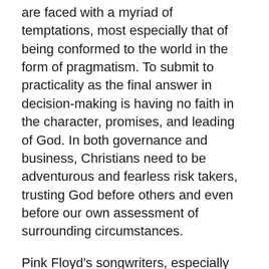are faced with a myriad of temptations, most especially that of being conformed to the world in the form of pragmatism. To submit to practicality as the final answer in decision-making is having no faith in the character, promises, and leading of God. In both governance and business, Christians need to be adventurous and fearless risk takers, trusting God before others and even before our own assessment of surrounding circumstances.
Pink Floyd's songwriters, especially Roger Waters, wrestled deeply with the major issues of the human condition – evil, alienation and isolation, power and greed, etc. The angst at the heart of the driving melodies and lyrics have been popularized as much by the sense of identification of listeners with the writers as the beauty of the music itself. Pink Floyd stands out as a strong